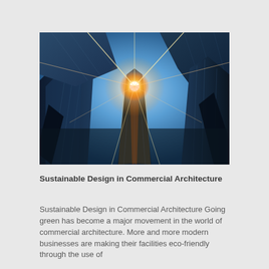[Figure (photo): Upward-looking perspective photograph of tall glass commercial skyscrapers with a bright sunburst/lens flare in the center against a blue sky]
Sustainable Design in Commercial Architecture
Sustainable Design in Commercial Architecture Going green has become a major movement in the world of commercial architecture. More and more modern businesses are making their facilities eco-friendly through the use of